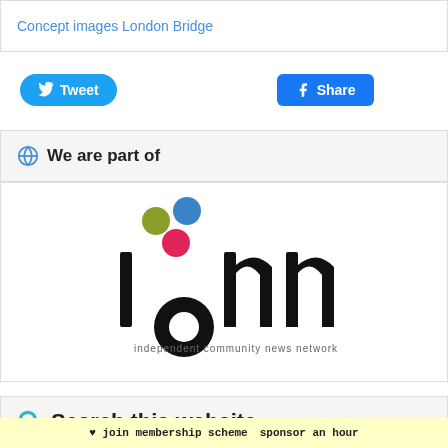Concept images London Bridge
Tweet  Share  WhatsApp
We are part of
[Figure (logo): ICNN - independent community news network logo with colored circles (olive, blue, pink) above stylized 'ionn' text]
Search this website
❤ join membership scheme  sponsor an hour